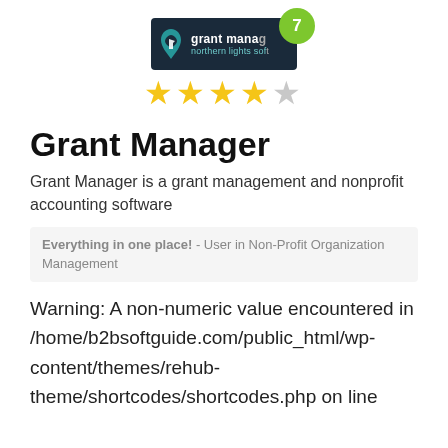[Figure (logo): Grant Manager by Northern Lights Software logo with a badge showing the number 7]
[Figure (other): Star rating: 3.5 out of 5 stars (3 filled, 1 half, 1 empty)]
Grant Manager
Grant Manager is a grant management and nonprofit accounting software
Everything in one place! - User in Non-Profit Organization Management
Warning: A non-numeric value encountered in /home/b2bsoftguide.com/public_html/wp-content/themes/rehub-theme/shortcodes/shortcodes.php on line